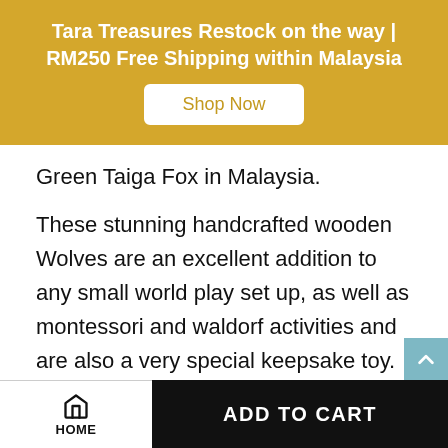Tara Treasures Restock on the way | RM250 Free Shipping within Malaysia
Green Taiga Fox in Malaysia.
These stunning handcrafted wooden Wolves are an excellent addition to any small world play set up, as well as montessori and waldorf activities and are also a very special keepsake toy.
These amazing wooden figures are a unique addition to their collection.
HOME | ADD TO CART